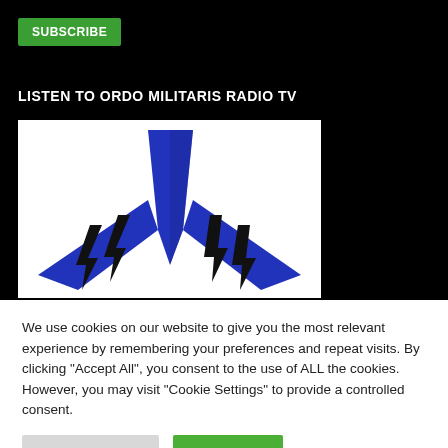SUBSCRIBE
LISTEN TO ORDO MILITARIS RADIO TV
[Figure (logo): Ordo Militaris Radio TV logo: blue star/arrow shape pointing down with black lightning bolt wings on white background]
We use cookies on our website to give you the most relevant experience by remembering your preferences and repeat visits. By clicking "Accept All", you consent to the use of ALL the cookies. However, you may visit "Cookie Settings" to provide a controlled consent.
Cookie Settings
Accept All